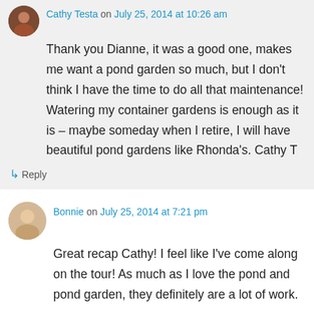Cathy Testa on July 25, 2014 at 10:26 am
Thank you Dianne, it was a good one, makes me want a pond garden so much, but I don't think I have the time to do all that maintenance! Watering my container gardens is enough as it is – maybe someday when I retire, I will have beautiful pond gardens like Rhonda's. Cathy T
↳ Reply
Bonnie on July 25, 2014 at 7:21 pm
Great recap Cathy! I feel like I've come along on the tour! As much as I love the pond and pond garden, they definitely are a lot of work.